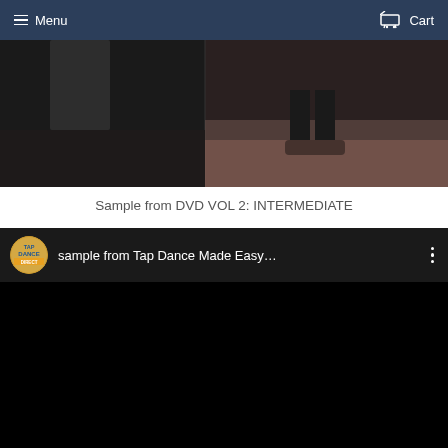Menu   Cart
[Figure (screenshot): Dark video thumbnail showing dancers feet and legs on a stage floor, split-screen view]
Sample from DVD VOL 2: INTERMEDIATE
[Figure (screenshot): YouTube video embed showing 'sample from Tap Dance Made Easy...' with channel icon and three-dot menu]